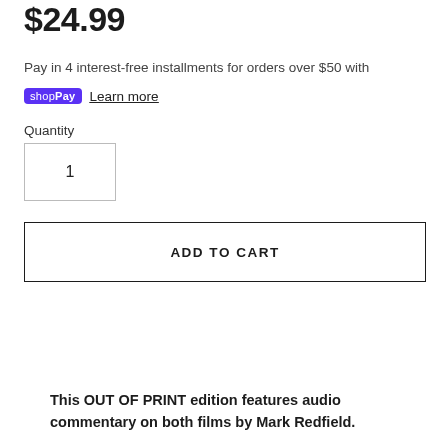$24.99
Pay in 4 interest-free installments for orders over $50 with
shopPay  Learn more
Quantity
1
ADD TO CART
This OUT OF PRINT edition features audio commentary on both films by Mark Redfield.